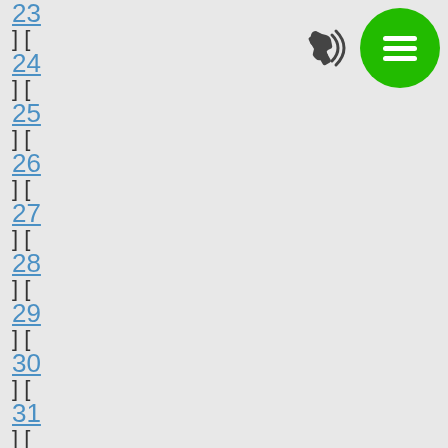23
] [
24
] [
25
] [
26
] [
27
] [
28
] [
29
] [
30
] [
31
] [
32
] [
33
] [
[Figure (illustration): Phone call icon (dark, with signal waves) and a green circular menu button with three horizontal white lines (hamburger icon) in the top right corner.]